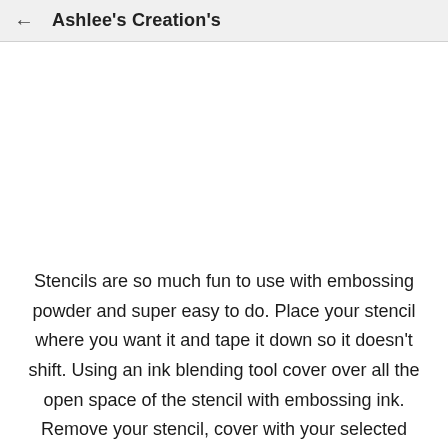Ashlee's Creation's
[Figure (photo): White/blank image area below the header]
Stencils are so much fun to use with embossing powder and super easy to do. Place your stencil where you want it and tape it down so it doesn't shift. Using an ink blending tool cover over all the open space of the stencil with embossing ink. Remove your stencil, cover with your selected embossing powder, tip off excess and